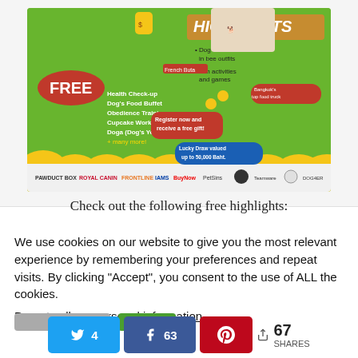[Figure (illustration): Colorful event promotional banner/flyer for a dog event. Green background with cartoon dogs, bees, shopping bags. Text reads HIGHLIGHTS with bullet points: Dog fashion show in bee outfits, Fun activities and games. FREE section lists: Health Check-up, Dog's Food Buffet, Obedience Training, Cupcake Workshop, Doga (Dog's Yoga), + many more! Register now and receive a free gift! Lucky Draw valued up to 50,000 Baht. Sponsor logos at bottom: PAWDUCT BOX, ROYAL CANIN, FRONTLINE, IAMS, BuyNow, PetSins, and others.]
Check out the following free highlights:
We use cookies on our website to give you the most relevant experience by remembering your preferences and repeat visits. By clicking "Accept", you consent to the use of ALL the cookies.
Do not sell my personal information.